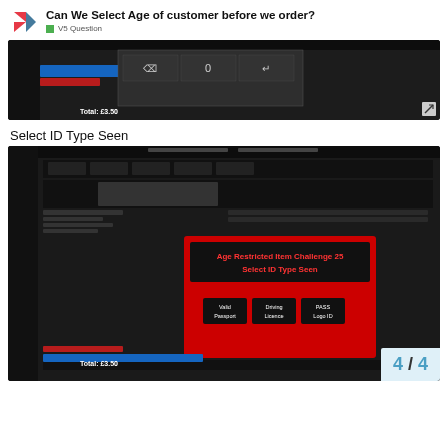Can We Select Age of customer before we order?
V5 Question
[Figure (screenshot): Dark POS interface showing a numeric keypad overlay with backspace, 0, and enter buttons. Total: £3.50 shown at bottom.]
Select ID Type Seen
[Figure (screenshot): Dark POS interface with red modal overlay titled 'Age Restricted Item Challenge 25 / Select ID Type Seen' showing three buttons: Valid Passport, Driving Licence, PASS Logo ID. Total: £3.50 shown at bottom.]
4 / 4